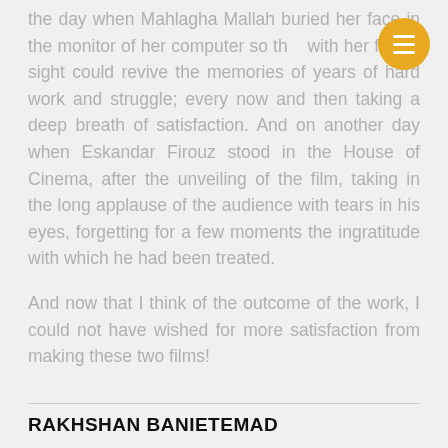the day when Mahlagha Mallah buried her face in the monitor of her computer so that with her failing sight could revive the memories of years of hard work and struggle; every now and then taking a deep breath of satisfaction. And on another day when Eskandar Firouz stood in the House of Cinema, after the unveiling of the film, taking in the long applause of the audience with tears in his eyes, forgetting for a few moments the ingratitude with which he had been treated.

And now that I think of the outcome of the work, I could not have wished for more satisfaction from making these two films!
RAKHSHAN BANIETEMAD